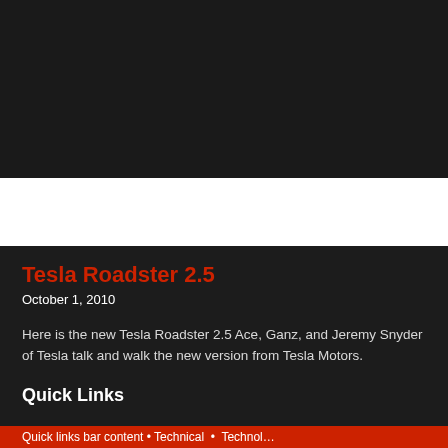[Figure (other): Black video/image placeholder box at top of page]
Tesla Roadster 2.5
October 1, 2010
Here is the new Tesla Roadster 2.5 Ace, Ganz, and Jeremy Snyder of Tesla talk and walk the new version from Tesla Motors.
Quick Links
Quick links footer bar (partial, cut off)